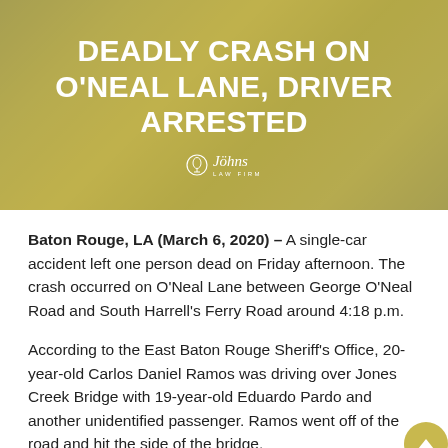[Figure (photo): Hero image with olive/golden tinted background showing blurred cars on a road. White text overlay reads 'DEADLY CRASH ON O'NEAL LANE, DRIVER ARRESTED' with Johns Law Firm logo below.]
DEADLY CRASH ON O'NEAL LANE, DRIVER ARRESTED
Baton Rouge, LA (March 6, 2020) – A single-car accident left one person dead on Friday afternoon. The crash occurred on O'Neal Lane between George O'Neal Road and South Harrell's Ferry Road around 4:18 p.m.
According to the East Baton Rouge Sheriff's Office, 20-year-old Carlos Daniel Ramos was driving over Jones Creek Bridge with 19-year-old Eduardo Pardo and another unidentified passenger. Ramos went off of the road and hit the side of the bridge,